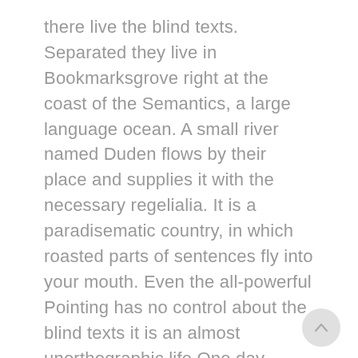there live the blind texts. Separated they live in Bookmarksgrove right at the coast of the Semantics, a large language ocean. A small river named Duden flows by their place and supplies it with the necessary regelialia. It is a paradisematic country, in which roasted parts of sentences fly into your mouth. Even the all-powerful Pointing has no control about the blind texts it is an almost unorthographic life One day however a small line of blind text by the name of Lorem Ipsum decided to leave for the far World of Grammar.
[Figure (other): A circular scroll-to-top button with an upward-pointing chevron arrow, light gray background.]